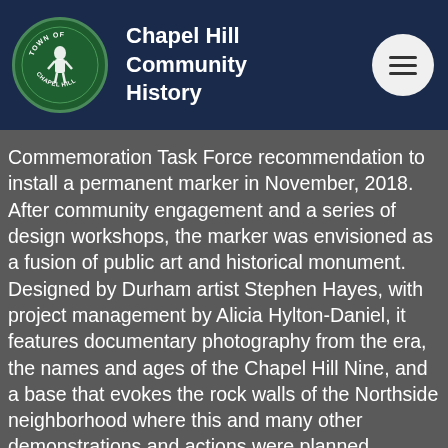Chapel Hill Community History
Commemoration Task Force recommendation to install a permanent marker in November, 2018. After community engagement and a series of design workshops, the marker was envisioned as a fusion of public art and historical monument. Designed by Durham artist Stephen Hayes, with project management by Alicia Hylton-Daniel, it features documentary photography from the era, the names and ages of the Chapel Hill Nine, and a base that evokes the rock walls of the Northside neighborhood where this and many other demonstrations and actions were planned.